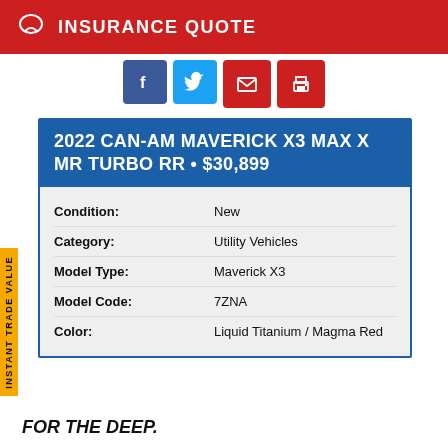INSURANCE QUOTE
[Figure (other): Social media share icons: Facebook, Twitter, Email, Print]
2022 CAN-AM MAVERICK X3 MAX X MR TURBO RR • $30,899
| Field | Value |
| --- | --- |
| Condition: | New |
| Category: | Utility Vehicles |
| Model Type: | Maverick X3 |
| Model Code: | 7ZNA |
| Color: | Liquid Titanium / Magma Red |
INSTANT TRADE VALUE
FOR THE DEEP.